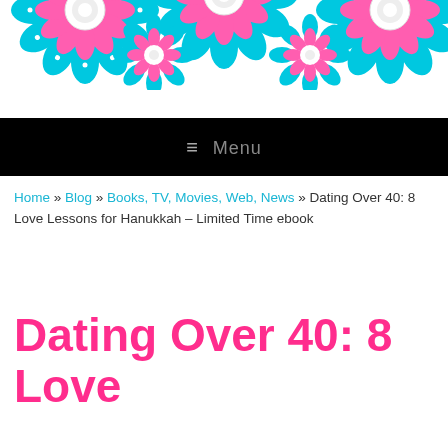[Figure (illustration): Decorative mandala border header with cyan/turquoise and pink floral mandala patterns against white background]
≡ Menu
Home » Blog » Books, TV, Movies, Web, News » Dating Over 40: 8 Love Lessons for Hanukkah – Limited Time ebook
Dating Over 40: 8 Love